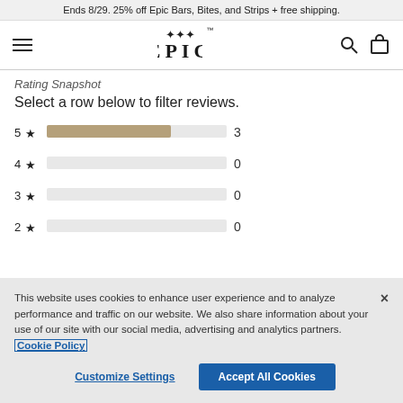Ends 8/29. 25% off Epic Bars, Bites, and Strips + free shipping.
[Figure (logo): EPIC brand logo with crown/cross symbol above the word EPIC in large serif letters, flanked by hamburger menu icon on the left and search/cart icons on the right]
Rating Snapshot
Select a row below to filter reviews.
[Figure (bar-chart): Rating Snapshot]
This website uses cookies to enhance user experience and to analyze performance and traffic on our website. We also share information about your use of our site with our social media, advertising and analytics partners. Cookie Policy
Customize Settings
Accept All Cookies